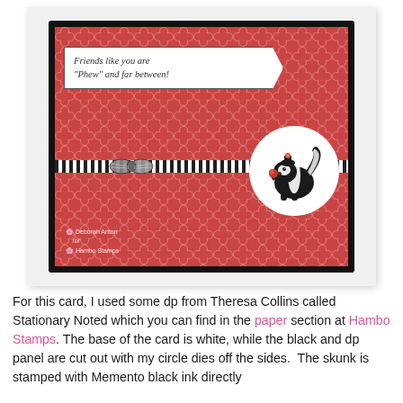[Figure (photo): A handmade greeting card with red quatrefoil patterned paper, a white banner speech bubble reading "Friends like you are 'Phew' and far between!", a black and white striped ribbon with bow across the middle, a white circle with a stamped black skunk holding roses, and a watermark reading 'Deborah Anton for Hambo Stamps'. Card has black border, set against a white/gray background.]
For this card, I used some dp from Theresa Collins called Stationary Noted which you can find in the paper section at Hambo Stamps. The base of the card is white, while the black and dp panel are cut out with my circle dies off the sides.  The skunk is stamped with Memento black ink directly